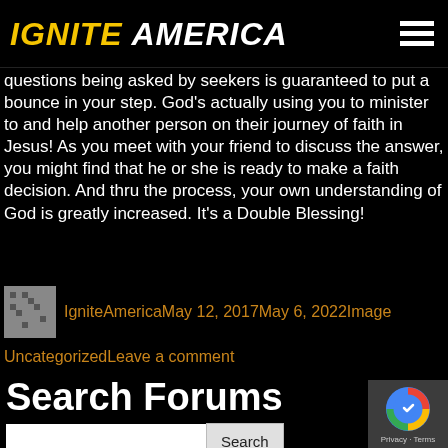IGNITE AMERICA
questions being asked by seekers is guaranteed to put a bounce in your step. God's actually using you to minister to and help another person on their journey of faith in Jesus! As you meet with your friend to discuss the answer, you might find that he or she is ready to make a faith decision. And thru the process, your own understanding of God is greatly increased. It's a Double Blessing!
IgniteAmericaMay 12, 2017May 6, 2022Image
UncategorizedLeave a comment
Search Forums
[Figure (other): Scroll to top button — white circle with upward chevron arrow]